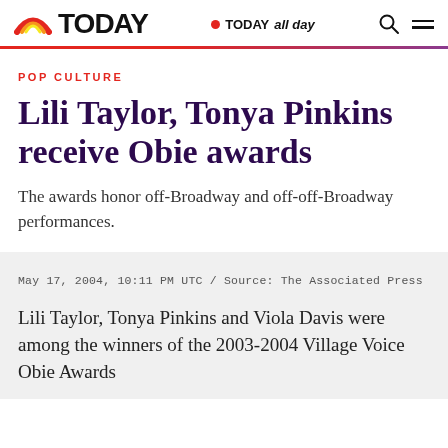TODAY | TODAY all day
POP CULTURE
Lili Taylor, Tonya Pinkins receive Obie awards
The awards honor off-Broadway and off-off-Broadway performances.
May 17, 2004, 10:11 PM UTC / Source: The Associated Press
Lili Taylor, Tonya Pinkins and Viola Davis were among the winners of the 2003-2004 Village Voice Obie Awards